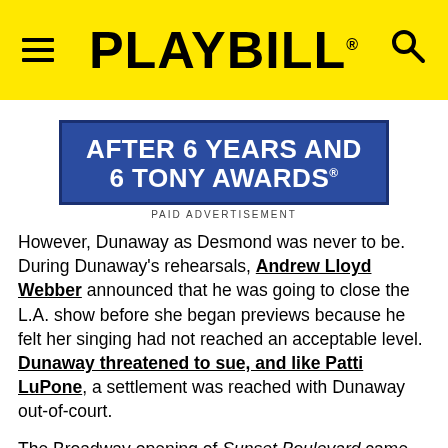PLAYBILL®
[Figure (other): Blue advertisement banner reading 'AFTER 6 YEARS AND 6 TONY AWARDS®']
PAID ADVERTISEMENT
However, Dunaway as Desmond was never to be. During Dunaway's rehearsals, Andrew Lloyd Webber announced that he was going to close the L.A. show before she began previews because he felt her singing had not reached an acceptable level. Dunaway threatened to sue, and like Patti LuPone, a settlement was reached with Dunaway out-of-court.
The Broadway opening of Sunset Boulevard came next on November 17, 1994, and its leading lady received raves from the critics.
Jeremy Gerard in Variety wrote that "with Glenn Close